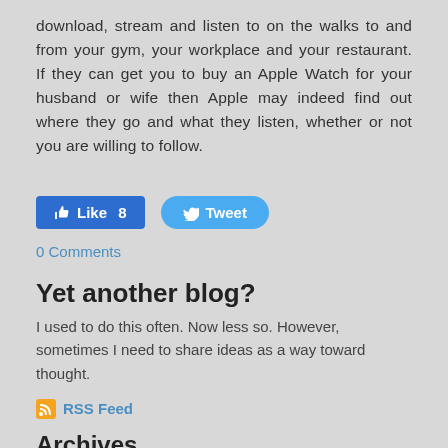download, stream and listen to on the walks to and from your gym, your workplace and your restaurant. If they can get you to buy an Apple Watch for your husband or wife then Apple may indeed find out where they go and what they listen, whether or not you are willing to follow.
[Figure (other): Social media buttons: Facebook Like button showing count of 8, and Twitter Tweet button]
0 Comments
Yet another blog?
I used to do this often. Now less so. However, sometimes I need to share ideas as a way toward thought.
RSS Feed
Archives
November 2016